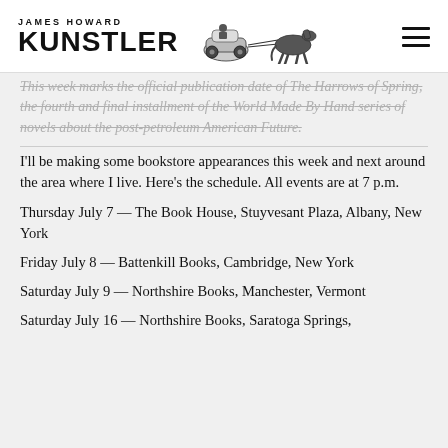JAMES HOWARD KUNSTLER
This week marks the official publication date of The Harrows of Spring, the fourth and final installment of the World Made By Hand series of novels about the post-petroleum American Future.
I'll be making some bookstore appearances this week and next around the area where I live. Here's the schedule. All events are at 7 p.m.
Thursday July 7 — The Book House, Stuyvesant Plaza, Albany, New York
Friday July 8 — Battenkill Books, Cambridge, New York
Saturday July 9 — Northshire Books, Manchester, Vermont
Saturday July 16 — Northshire Books, Saratoga Springs,